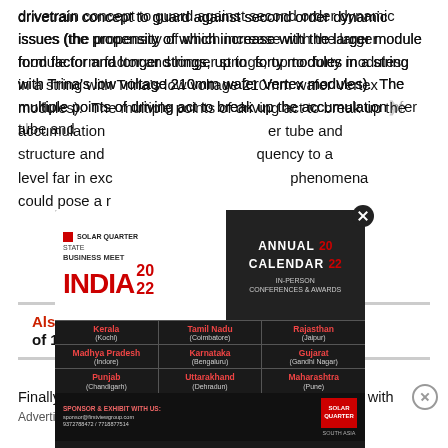drivetrain concept to guard against second order dynamic issues (the propensity of which increase with the larger module form factor and longer strings, up to forty modules in a string with Trina's low voltage 210mm wafer Vertex modules). The multiple points of driving act to break up the accumulation [of charge on the] er tube and structure and [reduce the frequency to a level far in exc[ess of what these] phenomena could pose a r[isk].
Advertisements
[Figure (infographic): Solar Quarter State Business Meet India 2022 advertisement showing Annual Calendar 2022 in-person conferences & awards with Indian state locations: Kerala (Kochi), Tamil Nadu (Coimbatore), Rajasthan (Jaipur), Madhya Pradesh (Indore), Karnataka (Bengaluru), Gujarat (Gandhi Nagar), Punjab (Chandigarh), Uttarakhand (Dehradun), Maharashtra (Pune). Sponsor & exhibit contact info shown.]
Also Read: [Commissioning of 131 MW] [solar] [an]
Finally, TrinaTracker is the only solution on the market with
Advertisements